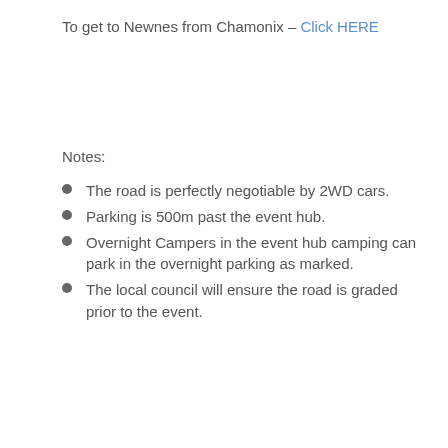To get to Newnes from Chamonix – Click HERE
Notes:
The road is perfectly negotiable by 2WD cars.
Parking is 500m past the event hub.
Overnight Campers in the event hub camping can park in the overnight parking as marked.
The local council will ensure the road is graded prior to the event.